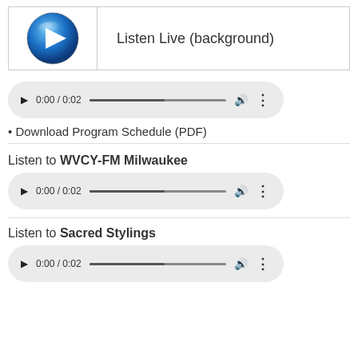[Figure (screenshot): Listen Live (background) button with blue circular play icon and text]
[Figure (screenshot): HTML5 audio player showing 0:00 / 0:02 with play button, progress bar, volume, and more options]
Download Program Schedule (PDF)
Listen to WVCY-FM Milwaukee
[Figure (screenshot): HTML5 audio player showing 0:00 / 0:02 with play button, progress bar, volume, and more options]
Listen to Sacred Stylings
[Figure (screenshot): HTML5 audio player showing 0:00 / 0:02 with play button, progress bar, volume, and more options]